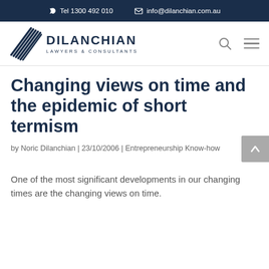Tel 1300 492 010   info@dilanchian.com.au
[Figure (logo): Dilanchian Lawyers & Consultants logo with diamond/chevron graphic and navigation icons (search, hamburger menu)]
Changing views on time and the epidemic of short termism
by Noric Dilanchian | 23/10/2006 | Entrepreneurship Know-how
One of the most significant developments in our changing times are the changing views on time.